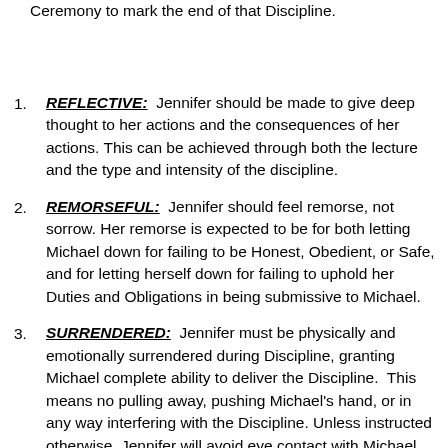Ceremony to mark the end of that Discipline.
REFLECTIVE: Jennifer should be made to give deep thought to her actions and the consequences of her actions. This can be achieved through both the lecture and the type and intensity of the discipline.
REMORSEFUL: Jennifer should feel remorse, not sorrow. Her remorse is expected to be for both letting Michael down for failing to be Honest, Obedient, or Safe, and for letting herself down for failing to uphold her Duties and Obligations in being submissive to Michael.
SURRENDERED: Jennifer must be physically and emotionally surrendered during Discipline, granting Michael complete ability to deliver the Discipline. This means no pulling away, pushing Michael's hand, or in any way interfering with the Discipline. Unless instructed otherwise, Jennifer will avoid eye contact with Michael